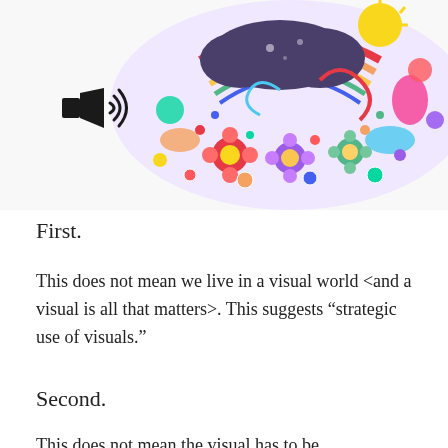[Figure (illustration): Colorful psychedelic illustration of a human head/brain filled with vibrant flowers, clouds, rainbows, and abstract doodles. A black speaker/megaphone icon is on the left side of the image.]
First.
This does not mean we live in a visual world <and a visual is all that matters>. This suggests “strategic use of visuals.”
Second.
This does not mean the visual has to be